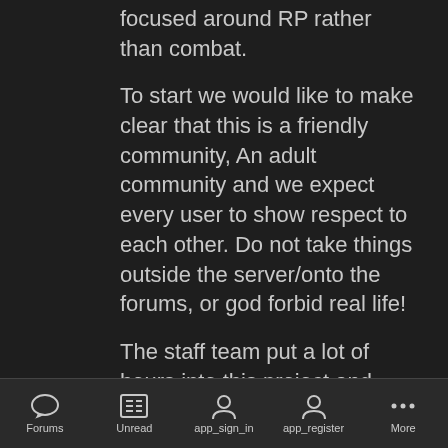focused around RP rather than combat.
To start we would like to make clear that this is a friendly community, An adult community and we expect every user to show respect to each other. Do not take things outside the server/onto the forums, or god forbid real life!
The staff team put a lot of hours into this project and these rules, and our ban process is configured in a way which is consistent to all members; one we believe that is fair and one
Forums  Unread  app_sign_in  app_register  More